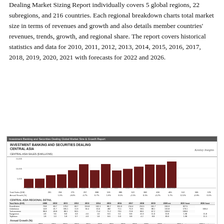Dealing Market Sizing Report individually covers 5 global regions, 22 subregions, and 216 countries. Each regional breakdown charts total market size in terms of revenues and growth and also details member countries' revenues, trends, growth, and regional share. The report covers historical statistics and data for 2010, 2011, 2012, 2013, 2014, 2015, 2016, 2017, 2018, 2019, 2020, 2021 with forecasts for 2022 and 2026.
[Figure (bar-chart): INVESTMENT BANKING AND SECURITIES DEALING CENTRAL ASIA]